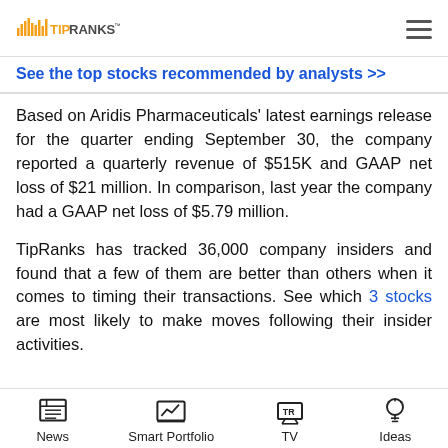TipRanks
See the top stocks recommended by analysts >>
Based on Aridis Pharmaceuticals' latest earnings release for the quarter ending September 30, the company reported a quarterly revenue of $515K and GAAP net loss of $21 million. In comparison, last year the company had a GAAP net loss of $5.79 million.
TipRanks has tracked 36,000 company insiders and found that a few of them are better than others when it comes to timing their transactions. See which 3 stocks are most likely to make moves following their insider activities.
News | Smart Portfolio | TV | Ideas